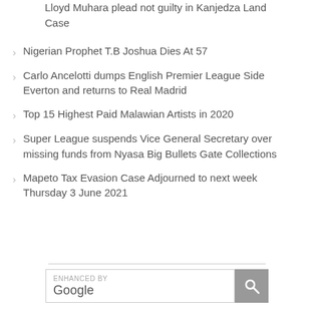Lloyd Muhara plead not guilty in Kanjedza Land Case
Nigerian Prophet T.B Joshua Dies At 57
Carlo Ancelotti dumps English Premier League Side Everton and returns to Real Madrid
Top 15 Highest Paid Malawian Artists in 2020
Super League suspends Vice General Secretary over missing funds from Nyasa Big Bullets Gate Collections
Mapeto Tax Evasion Case Adjourned to next week Thursday 3 June 2021
[Figure (other): Enhanced by Google search bar with search button]